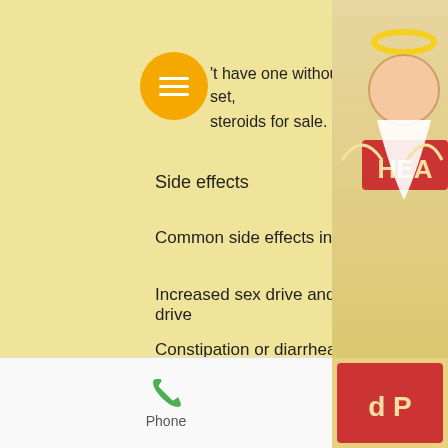You can't have one without the whole set, buy steroids for sale.
Side effects
Common side effects include:
Increased sex drive and a lower sex drive
Constipation or diarrhea
Increased body fat
Irritability
Acne
Phone